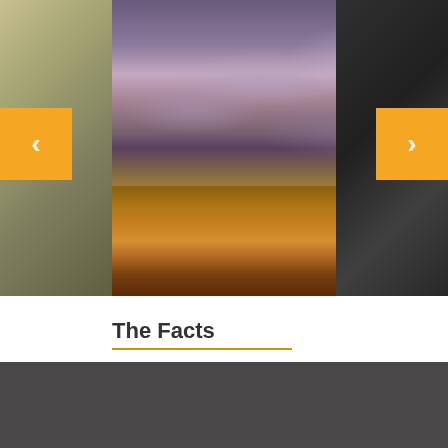[Figure (photo): Carousel image showing dramatic purple/grey cloudy sky over golden dry grassland/outback landscape, with navigation arrows on left and right, and partial images visible on both sides]
The Facts
State of the Climate Report
Citi
Sol
Sub
More news
[Figure (other): Red arrow pointing right, indicating 'More news' link]